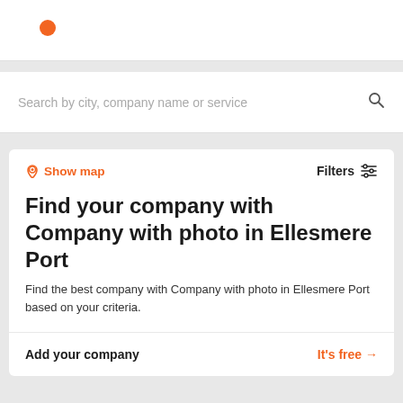[Figure (logo): Orange circle logo dot in top-left of header bar]
Search by city, company name or service
Show map
Filters
Find your company with Company with photo in Ellesmere Port
Find the best company with Company with photo in Ellesmere Port based on your criteria.
Add your company
It's free →